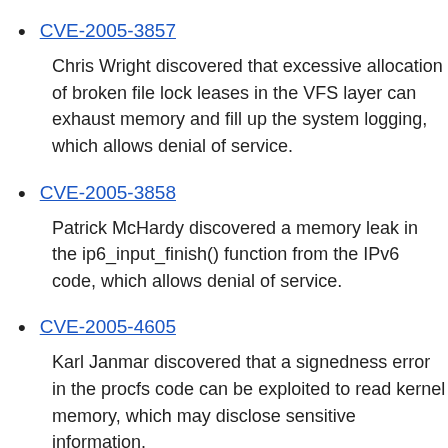CVE-2005-3857
Chris Wright discovered that excessive allocation of broken file lock leases in the VFS layer can exhaust memory and fill up the system logging, which allows denial of service.
CVE-2005-3858
Patrick McHardy discovered a memory leak in the ip6_input_finish() function from the IPv6 code, which allows denial of service.
CVE-2005-4605
Karl Janmar discovered that a signedness error in the procfs code can be exploited to read kernel memory, which may disclose sensitive information.